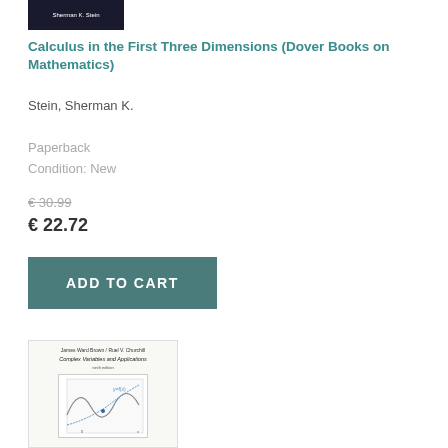[Figure (photo): Top portion of a dark book cover with text 'Sherman K. Stein' visible in white]
Calculus in the First Three Dimensions (Dover Books on Mathematics)
Stein, Sherman K.
Paperback
Condition: New
€30.99
€ 22.72
ADD TO CART
[Figure (photo): Book cover of 'Complex Variables and Applications' by James Ward Brown / Ruel V. Churchill, Ninth Edition, showing a mathematical graph with curves on a white background]